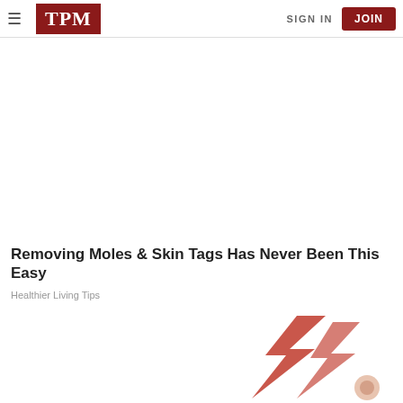TPM | SIGN IN | JOIN
Removing Moles & Skin Tags Has Never Been This Easy
Healthier Living Tips
[Figure (illustration): Partial illustration showing a red lightning bolt / mole removal graphic at the bottom right of the page]